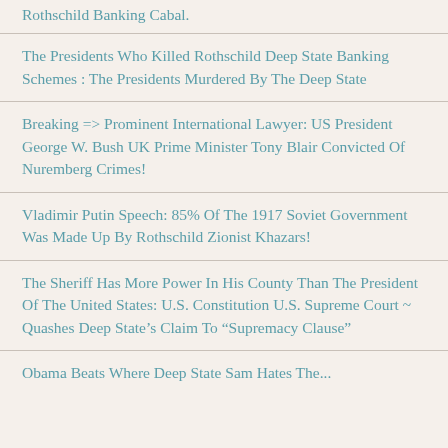Rothschild Banking Cabal.
The Presidents Who Killed Rothschild Deep State Banking Schemes : The Presidents Murdered By The Deep State
Breaking => Prominent International Lawyer: US President George W. Bush UK Prime Minister Tony Blair Convicted Of Nuremberg Crimes!
Vladimir Putin Speech: 85% Of The 1917 Soviet Government Was Made Up By Rothschild Zionist Khazars!
The Sheriff Has More Power In His County Than The President Of The United States: U.S. Constitution U.S. Supreme Court ~ Quashes Deep State's Claim To "Supremacy Clause"
Obama Beats Where Deep State Sam Hates The...